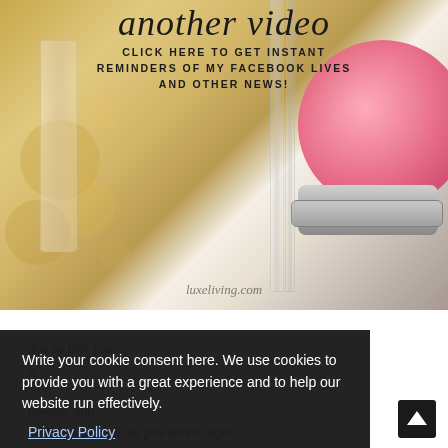[Figure (photo): A lifestyle/beauty blog promotional image with bokeh background of gold perfume bottles on left and a pink powder puff/compact on the right. Overlaid text reads 'another video' in cursive script and 'CLICK HERE TO GET INSTANT REMINDERS OF MY FACEBOOK LIVES AND OTHER NEWS!' in spaced caps. Watermark reads 'luxeliving.com'.]
deo so that you n!
powder and adding it in with the powdered sugar.
Write your cookie consent here. We use cookies to provide you with a great experience and to help our website run effectively.
Privacy Policy
Okay!